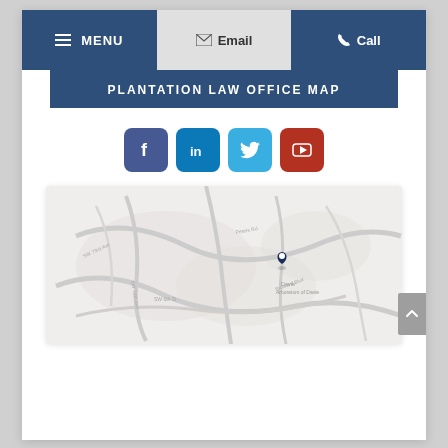MENU | Email | Call
PLANTATION LAW OFFICE MAP
[Figure (infographic): Social media icon buttons: Facebook, LinkedIn, Twitter, YouTube]
[Figure (map): Google Maps embed showing Plantation Law Office location with a map pin marker]